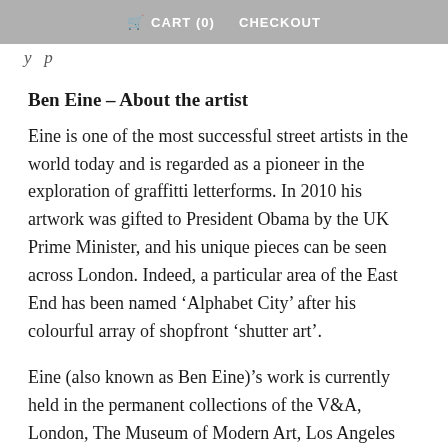CART (0)   CHECKOUT
y p
Ben Eine – About the artist
Eine is one of the most successful street artists in the world today and is regarded as a pioneer in the exploration of graffitti letterforms. In 2010 his artwork was gifted to President Obama by the UK Prime Minister, and his unique pieces can be seen across London. Indeed, a particular area of the East End has been named ‘Alphabet City’ after his colourful array of shopfront ‘shutter art’.
Eine (also known as Ben Eine)’s work is currently held in the permanent collections of the V&A, London, The Museum of Modern Art, Los Angeles and galleries